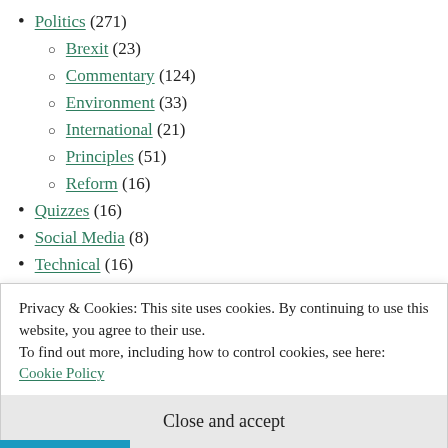Politics (271)
Brexit (23)
Commentary (124)
Environment (33)
International (21)
Principles (51)
Reform (16)
Quizzes (16)
Social Media (8)
Technical (16)
Travel (7)
Privacy & Cookies: This site uses cookies. By continuing to use this website, you agree to their use.
To find out more, including how to control cookies, see here: Cookie Policy
Close and accept